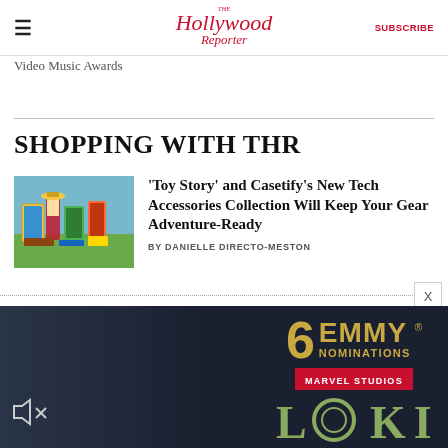The Hollywood Reporter — SUBSCRIBE
Video Music Awards
SHOPPING WITH THR
[Figure (photo): Toy Story and Casetify tech accessories including phone cases and accessories displayed on a blue background]
'Toy Story' and Casetify's New Tech Accessories Collection Will Keep Your Gear Adventure-Ready
BY DANIELLE DIRECTO-MESTON
[Figure (screenshot): Advertisement for Marvel Studios Loki showing 6 Emmy Nominations with golden text on dark background, Disney+ logo visible]